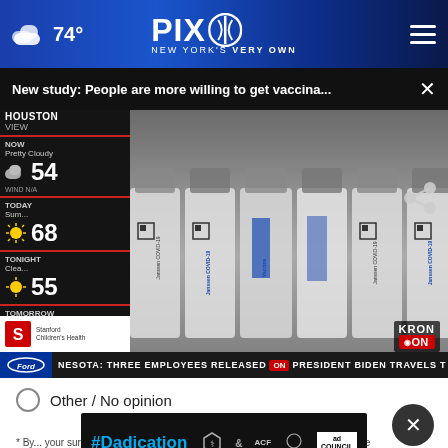PIX11 NEW YORK'S VERY OWN — 74°
New study: People are more willing to get vaccina...
[Figure (screenshot): News broadcast screenshot showing COVID-19 vaccine vials (Janssen COVID-19 Vaccine) with weather panel on left showing temperatures: NOW 54, TODAY 68, TONIGHT 55, TOMORROW 69. KRON ON logo visible. Ticker bar at bottom: NESOTA: THREE EMPLOYEES RELEASED ON PRESIDENT BIDEN TRAVELS]
Other / No opinion
[Figure (other): #Dadication ad banner with HHS/ACF and Ad Council logos]
* By ... your survey answers. If you would like to continue with this survey, please